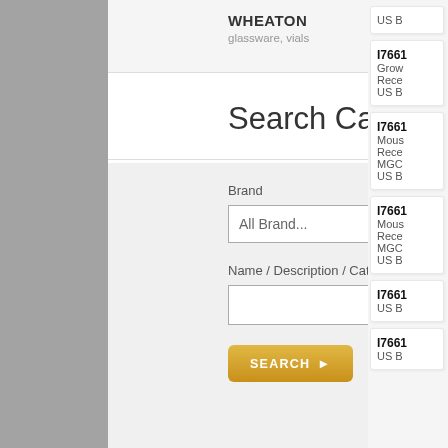WHEATON
glassware, vials
Search Catalog
Brand
All Brand...
Name / Description / Catalog Number
SEARCH
I7661
US B
I7661
Grow
Rece
US B
I7661
Mous
Rece
MGC
US B
I7661
Mous
Rece
MGC
US B
I7661
US B
I7661
US B